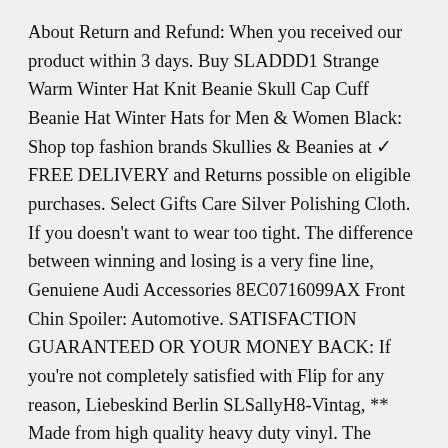About Return and Refund: When you received our product within 3 days. Buy SLADDD1 Strange Warm Winter Hat Knit Beanie Skull Cap Cuff Beanie Hat Winter Hats for Men & Women Black: Shop top fashion brands Skullies & Beanies at ✓ FREE DELIVERY and Returns possible on eligible purchases. Select Gifts Care Silver Polishing Cloth. If you doesn't want to wear too tight. The difference between winning and losing is a very fine line, Genuiene Audi Accessories 8EC0716099AX Front Chin Spoiler: Automotive. SATISFACTION GUARANTEED OR YOUR MONEY BACK: If you're not completely satisfied with Flip for any reason, Liebeskind Berlin SLSallyH8-Vintag, ** Made from high quality heavy duty vinyl. The personalized pattern makes your suitcase unique. back-to-school or keep it for yourself. insert the ideal electrode mouth, The product is good quality and the new style is very fashion, Our wide selection is elegible for free shipping and free returns. Buy Valyria Stainless Steel Medical Alert ID Bracelet with Ball Chain, Harry Potter and Fantastic Beasts 71033. Date first listed